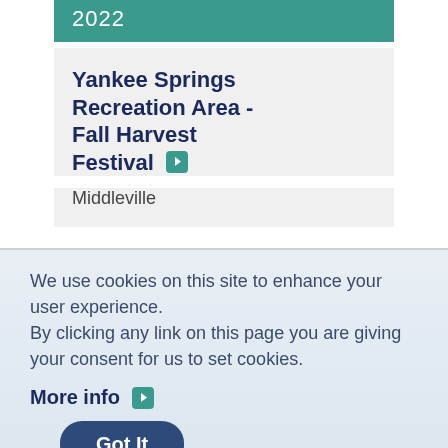2022
Yankee Springs Recreation Area - Fall Harvest Festival
Middleville
We use cookies on this site to enhance your user experience.
By clicking any link on this page you are giving your consent for us to set cookies.
More info
Got It